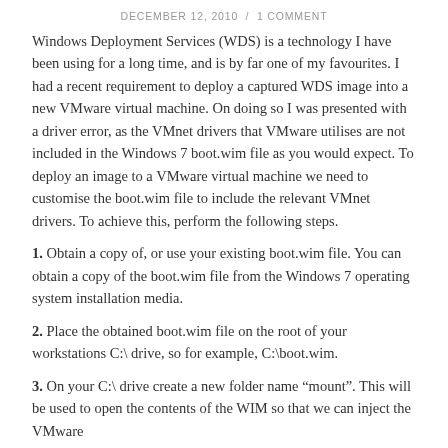DECEMBER 12, 2010  /  1 COMMENT
Windows Deployment Services (WDS) is a technology I have been using for a long time, and is by far one of my favourites. I had a recent requirement to deploy a captured WDS image into a new VMware virtual machine. On doing so I was presented with a driver error, as the VMnet drivers that VMware utilises are not included in the Windows 7 boot.wim file as you would expect. To deploy an image to a VMware virtual machine we need to customise the boot.wim file to include the relevant VMnet drivers. To achieve this, perform the following steps.
1. Obtain a copy of, or use your existing boot.wim file. You can obtain a copy of the boot.wim file from the Windows 7 operating system installation media.
2. Place the obtained boot.wim file on the root of your workstations C:\ drive, so for example, C:\boot.wim.
3. On your C:\ drive create a new folder name “mount”. This will be used to open the contents of the WIM so that we can inject the VMware